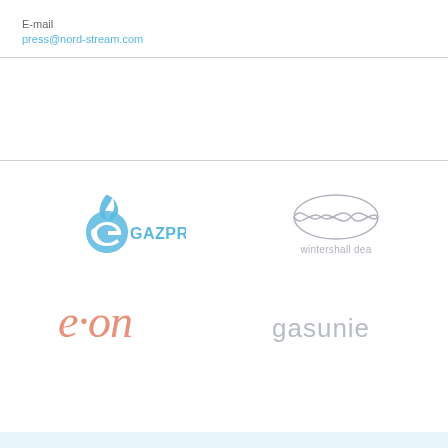E-mail
press@nord-stream.com
[Figure (logo): Gazprom logo - blue flame and G symbol with GAZPROM text in blue]
[Figure (logo): Wintershall Dea logo - grey infinity/loop symbol above text 'wintershall dea']
[Figure (logo): E.ON logo in salmon/pink stylized cursive text]
[Figure (logo): Gasunie logo in grey lowercase text]